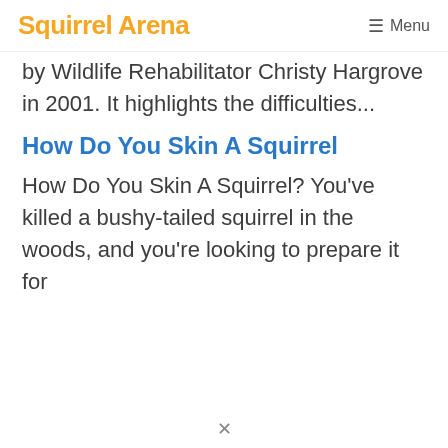Squirrel Arena  ☰ Menu
by Wildlife Rehabilitator Christy Hargrove in 2001. It highlights the difficulties...
How Do You Skin A Squirrel
How Do You Skin A Squirrel? You've killed a bushy-tailed squirrel in the woods, and you're looking to prepare it for